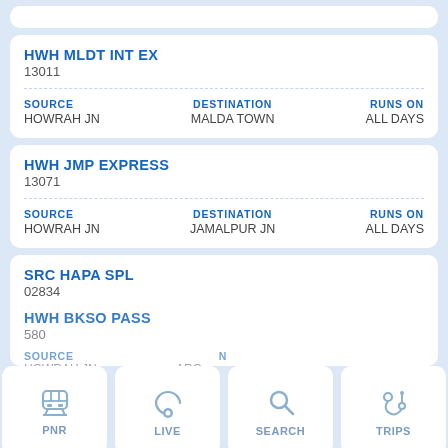[partial card at top]
HWH MLDT INT EX
13011
SOURCE: HOWRAH JN | DESTINATION: MALDA TOWN | RUNS ON: ALL DAYS
HWH JMP EXPRESS
13071
SOURCE: HOWRAH JN | DESTINATION: JAMALPUR JN | RUNS ON: ALL DAYS
SRC HAPA SPL
02834
SOURCE: HOWRAH JN | DESTINATION: AHMEDABAD JN | RUNS ON: ALL DAYS
HWH BKSO PASS (partial)
PNR | LIVE | SEARCH | TRIPS